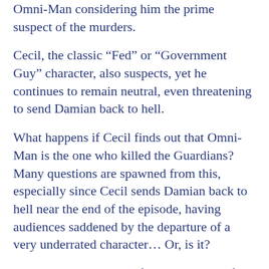Omni-Man considering him the prime suspect of the murders.
Cecil, the classic “Fed” or “Government Guy” character, also suspects, yet he continues to remain neutral, even threatening to send Damian back to hell.
What happens if Cecil finds out that Omni-Man is the one who killed the Guardians? Many questions are spawned from this, especially since Cecil sends Damian back to hell near the end of the episode, having audiences saddened by the departure of a very underrated character… Or, is it?
Robot, the new leader of the Guardians of the Globe, continues to be a very suspicious character as well. Many fans try to figure out what his intentions are